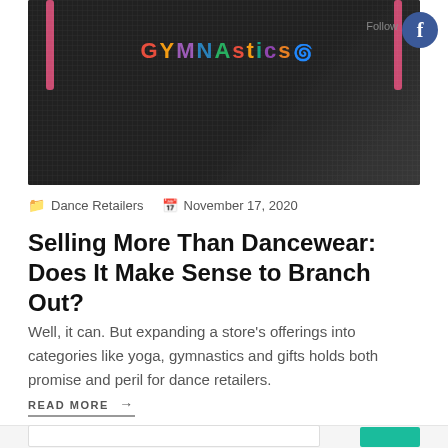[Figure (photo): Close-up of a dark gymnastics tank top with colorful 'GYMNASTICS' text embroidered or printed across the chest in multiple colors. Pink straps visible at the shoulders.]
Dance Retailers   November 17, 2020
Selling More Than Dancewear: Does It Make Sense to Branch Out?
Well, it can. But expanding a store's offerings into categories like yoga, gymnastics and gifts holds both promise and peril for dance retailers.
READ MORE →